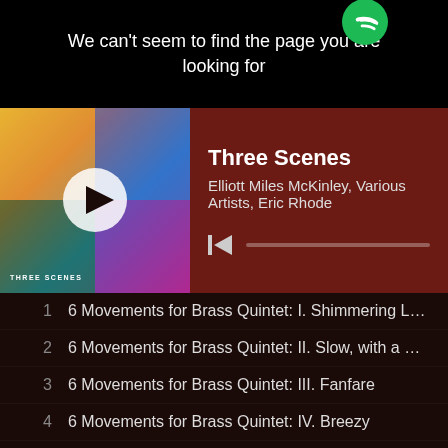[Figure (screenshot): Spotify error page banner showing 'We can't seem to find the page you are looking for' with Spotify logo]
Three Scenes
Elliott Miles McKinley, Various Artists, Eric Rhode
1  6 Movements for Brass Quintet: I. Shimmering Light
2  6 Movements for Brass Quintet: II. Slow, with a Still Calm
3  6 Movements for Brass Quintet: III. Fanfare
4  6 Movements for Brass Quintet: IV. Breezy
5  6 Movements for Brass Quintet: V. With Fire
6  6 Movements for Brass Quintet: VI. Choral-Chaconne. Lamen
7  Aria
8  4 Grooves: No. 1, Marimba Madness
9  4 Grooves: No. 2, An African Dream
10  4 Grooves: No. 3, Heavy Metals